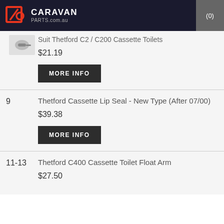CARAVAN PARTS.com.au (0)
Suit Thetford C2 / C200 Cassette Toilets
$21.19
MORE INFO
9
Thetford Cassette Lip Seal - New Type (After 07/00)
$39.38
MORE INFO
11-13
Thetford C400 Cassette Toilet Float Arm
$27.50